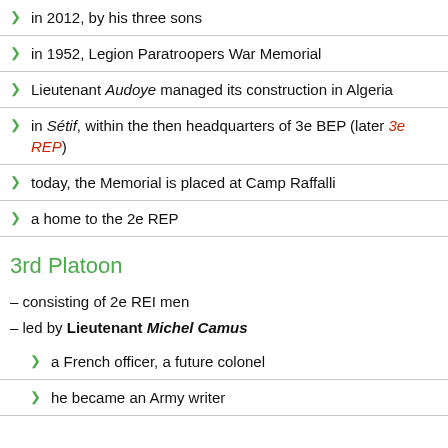in 2012, by his three sons
in 1952, Legion Paratroopers War Memorial
Lieutenant Audoye managed its construction in Algeria
in Sétif, within the then headquarters of 3e BEP (later 3e REP)
today, the Memorial is placed at Camp Raffalli
a home to the 2e REP
3rd Platoon
– consisting of 2e REI men
– led by Lieutenant Michel Camus
a French officer, a future colonel
he became an Army writer